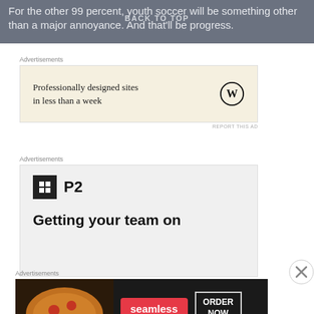For the other 99 percent, youth soccer will be something other than a major annoyance. And that'll be progress.
BACK TO TOP
Advertisements
[Figure (advertisement): WordPress advertisement: 'Professionally designed sites in less than a week' with WordPress logo on beige background]
REPORT THIS AD
Advertisements
[Figure (advertisement): P2 advertisement with dark square logo icon and text 'Getting your team on']
Advertisements
[Figure (advertisement): Seamless food delivery advertisement with pizza image, Seamless logo, and ORDER NOW button on dark background]
REPORT THIS AD